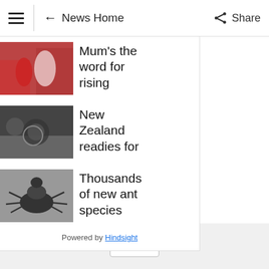News Home   Share
[Figure (screenshot): Sidebar panel with three news items: 1) Sports photo with text 'Mum's the word for rising', 2) New Zealand image with text 'New Zealand readies for', 3) Ant image with text 'Thousands of new ant species'. Footer: Powered by Hindsight]
The multicultural aspect of the festival will include food and information stalls as well as
[Figure (other): Ad placeholder box]